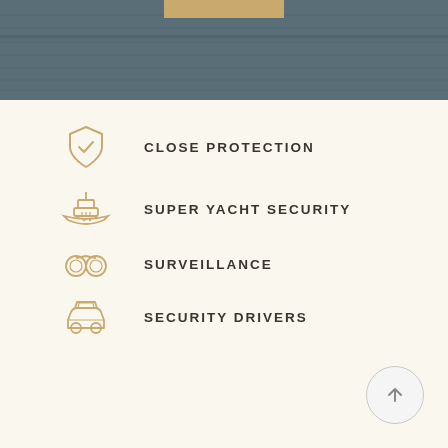[Figure (photo): Dark blue-grey textured background photo representing ocean/sea, with a gold bar element at top center]
CLOSE PROTECTION
SUPER YACHT SECURITY
SURVEILLANCE
SECURITY DRIVERS